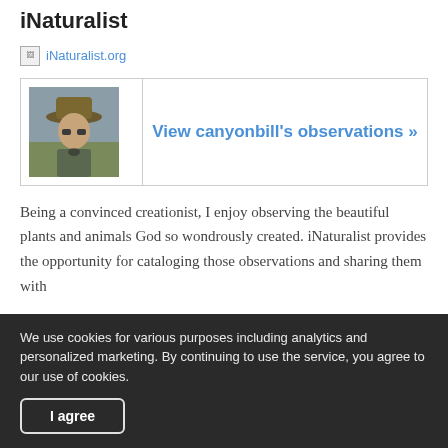iNaturalist
[Figure (logo): iNaturalist.org logo link with broken image placeholder]
| [profile photo of person wearing hat] | View canyonbill's observations » |
Being a convinced creationist, I enjoy observing the beautiful plants and animals God so wondrously created. iNaturalist provides the opportunity for cataloging those observations and sharing them with
We use cookies for various purposes including analytics and personalized marketing. By continuing to use the service, you agree to our use of cookies.
I agree